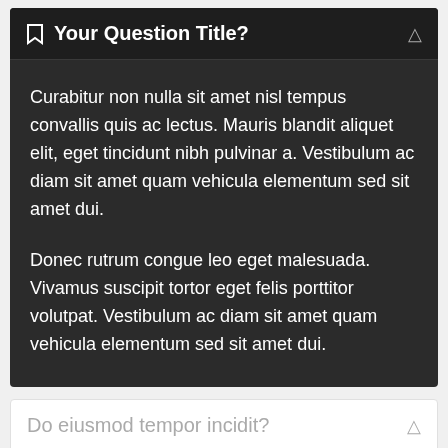Your Question Title?
Curabitur non nulla sit amet nisl tempus convallis quis ac lectus. Mauris blandit aliquet elit, eget tincidunt nibh pulvinar a. Vestibulum ac diam sit amet quam vehicula elementum sed sit amet dui.
Donec rutrum congue leo eget malesuada. Vivamus suscipit tortor eget felis porttitor volutpat. Vestibulum ac diam sit amet quam vehicula elementum sed sit amet dui.
Do eiusmod tempor incidit?